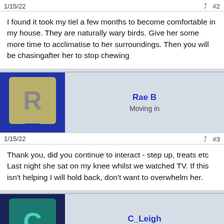1/15/22  #2
I found it took my tiel a few months to become comfortable in my house. They are naturally wary birds. Give her some more time to acclimatise to her surroundings. Then you will be chasingafter her to stop chewing
Rae B
Moving in
1/15/22  #3
Thank you, did you continue to interact - step up, treats etc
Last night she sat on my knee whilst we watched TV. If this isn't helping I will hold back, don't want to overwhelm her.
C_Leigh
Strolling the yard